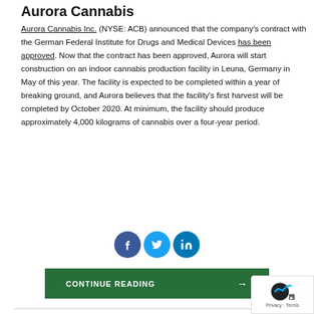Aurora Cannabis
Aurora Cannabis Inc. (NYSE: ACB) announced that the company's contract with the German Federal Institute for Drugs and Medical Devices has been approved. Now that the contract has been approved, Aurora will start construction on an indoor cannabis production facility in Leuna, Germany in May of this year. The facility is expected to be completed within a year of breaking ground, and Aurora believes that the facility's first harvest will be completed by October 2020. At minimum, the facility should produce approximately 4,000 kilograms of cannabis over a four-year period.
[Figure (other): Social sharing buttons: Facebook (blue circle with f icon), Twitter (light blue circle with bird icon), LinkedIn (dark blue circle with in icon)]
[Figure (other): Green Continue Reading button with arrow]